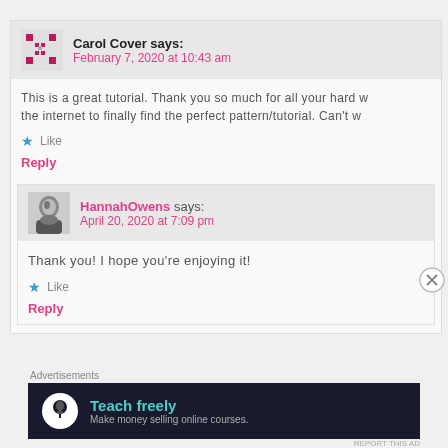Carol Cover says: February 7, 2020 at 10:43 am
This is a great tutorial. Thank you so much for all your hard w... the internet to finally find the perfect pattern/tutorial. Can't w...
★ Like
Reply
HannahOwens says: April 20, 2020 at 7:09 pm
Thank you! I hope you're enjoying it!
★ Like
Reply
Advertisements
[Figure (infographic): Ad banner: dark background with teal circular icon showing a person/tree silhouette. Text: 'Teach freely / Make money selling online courses.']